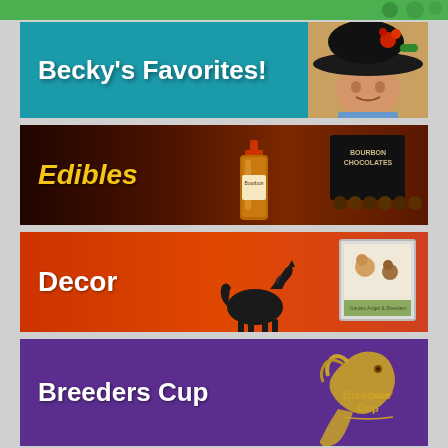[Figure (photo): Green banner strip at top of page]
[Figure (photo): Becky's Favorites banner with teal background and woman wearing large decorative hat]
[Figure (photo): Edibles banner with dark brown/maroon background showing bourbon bottle and chocolate box]
[Figure (photo): Decor banner with orange-red background showing black horse figurine and framed artwork]
[Figure (photo): Breeders Cup banner with purple background and Breeders Cup gold logo]